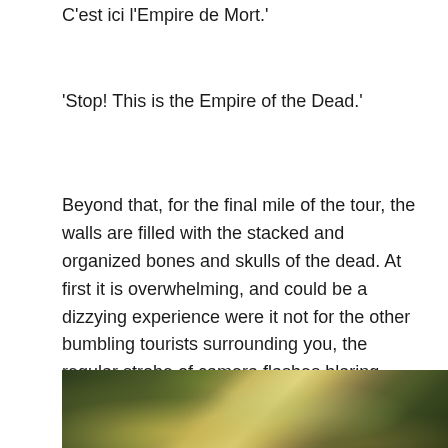C'est ici l'Empire de Mort.'
'Stop! This is the Empire of the Dead.'
Beyond that, for the final mile of the tour, the walls are filled with the stacked and organized bones and skulls of the dead. At first it is overwhelming, and could be a dizzying experience were it not for the other bumbling tourists surrounding you, the regular strobe of camera flashes blaring, and the constant rejoinder from Catacombs staff- 'Pas le flash! No flash!'
[Figure (photo): Close-up photograph of skulls and bones, appearing yellowed and mossy/greenish, likely from the Paris Catacombs]